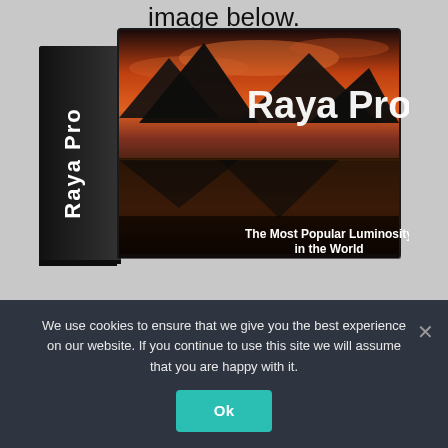image below.
[Figure (photo): 3D product box for 'Raya Pro' software — a Photoshop luminosity masking panel. The box shows a dramatic landscape photo (mountains reflected in water at sunset) on its front face with 'Raya Pro' in large white bold text, and 'The Most Popular Luminosity ... in the World' text at the bottom. The spine shows 'Raya Pro' rotated vertically in white text on a dark background.]
We use cookies to ensure that we give you the best experience on our website. If you continue to use this site we will assume that you are happy with it.
Ok